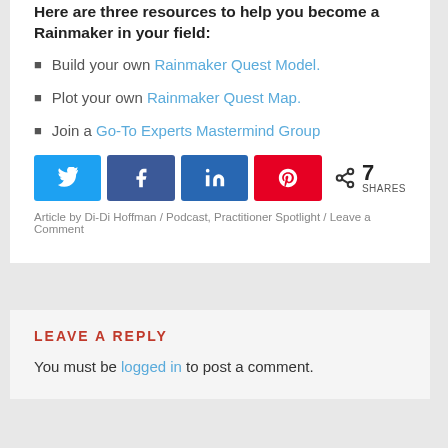Here are three resources to help you become a Rainmaker in your field:
Build your own Rainmaker Quest Model.
Plot your own Rainmaker Quest Map.
Join a Go-To Experts Mastermind Group
[Figure (other): Social share buttons: Twitter, Facebook, LinkedIn, Pinterest, with 7 SHARES count]
Article by Di-Di Hoffman / Podcast, Practitioner Spotlight / Leave a Comment
LEAVE A REPLY
You must be logged in to post a comment.